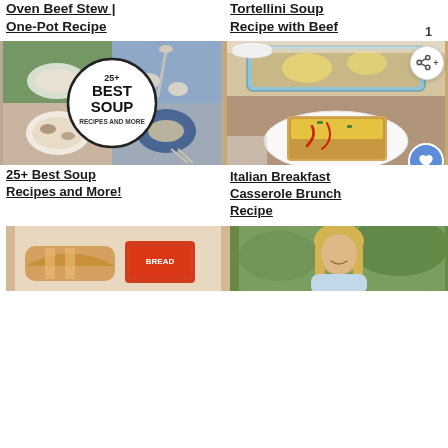Oven Beef Stew | One-Pot Recipe
Tortellini Soup Recipe with Beef
[Figure (photo): Collage of soup recipes with '25+ Best Soup Recipes and More' text overlay in a circular badge]
[Figure (photo): Italian breakfast casserole in a baking dish and served on a plate with red sauce drizzle]
25+ Best Soup Recipes and More!
Italian Breakfast Casserole Brunch Recipe
[Figure (photo): Sandwich with bread loaf and red packaging]
[Figure (photo): Portrait of a blonde woman outdoors with greenery background]